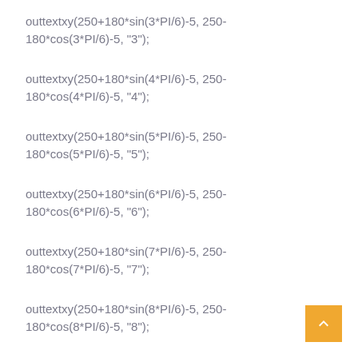outtextxy(250+180*sin(3*PI/6)-5, 250-180*cos(3*PI/6)-5, "3");
outtextxy(250+180*sin(4*PI/6)-5, 250-180*cos(4*PI/6)-5, "4");
outtextxy(250+180*sin(5*PI/6)-5, 250-180*cos(5*PI/6)-5, "5");
outtextxy(250+180*sin(6*PI/6)-5, 250-180*cos(6*PI/6)-5, "6");
outtextxy(250+180*sin(7*PI/6)-5, 250-180*cos(7*PI/6)-5, "7");
outtextxy(250+180*sin(8*PI/6)-5, 250-180*cos(8*PI/6)-5, "8");